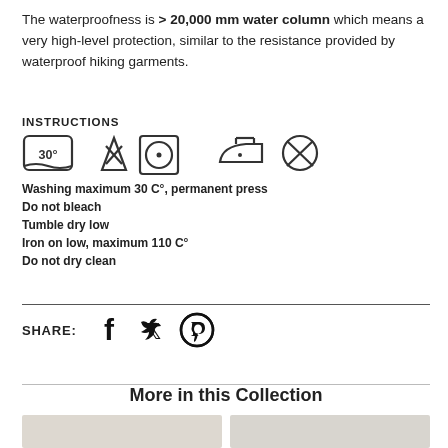The waterproofness is > 20,000 mm water column which means a very high-level protection, similar to the resistance provided by waterproof hiking garments.
INSTRUCTIONS
[Figure (infographic): Care label icons: wash at 30 degrees permanent press, do not bleach (X over triangle), tumble dry low (circle with dot), iron low (iron with one dot), do not dry clean (X in circle)]
Washing maximum 30 C°, permanent press
Do not bleach
Tumble dry low
Iron on low, maximum 110 C°
Do not dry clean
SHARE: [Facebook] [Twitter] [Pinterest]
More in this Collection